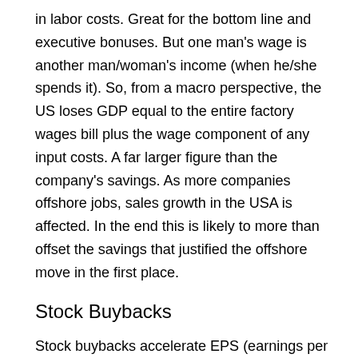in labor costs. Great for the bottom line and executive bonuses. But one man's wage is another man/woman's income (when he/she spends it). So, from a macro perspective, the US loses GDP equal to the entire factory wages bill plus the wage component of any input costs. A far larger figure than the company's savings. As more companies offshore jobs, sales growth in the USA is affected. In the end this is likely to more than offset the savings that justified the offshore move in the first place.
Stock Buybacks
Stock buybacks accelerate EPS (earnings per share) growth and are great for boosting stock prices and executive bonuses. But they create the illusion of growth while GDP stands still. There is no new capital formation.
Grose GDP Growth Factors...